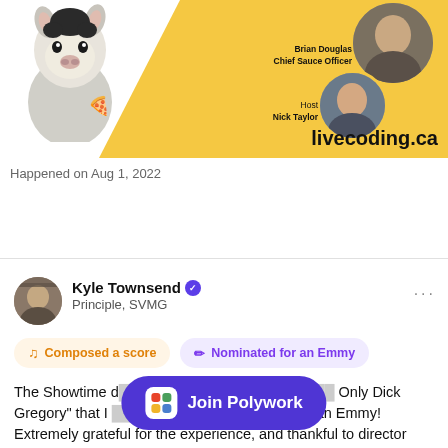[Figure (screenshot): livecoding.ca banner with an alpaca eating pizza on the left, a host photo (Nick Taylor) and guest photo (Brian Douglas, Chief Sauce Officer) on the right, and the URL livecoding.ca in bold black text]
Happened on Aug 1, 2022
[Figure (screenshot): Kyle Townsend profile avatar thumbnail]
Kyle Townsend  Principle, SVMG
Composed a score
Nominated for an Emmy
The Showtime d… Only Dick Gregory" that I … minated for an Emmy! Extremely grateful for the experience, and thankful to director Andre Gains for allowing me to be apart of such
Join Polywork